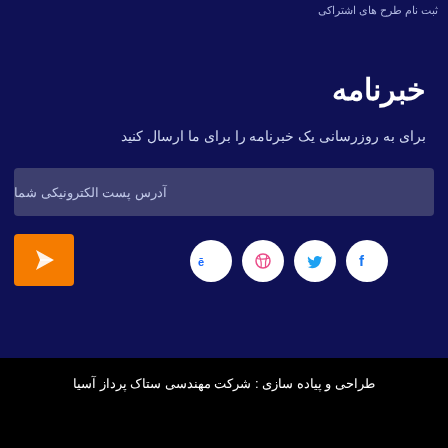ثبت نام طرح های اشتراکی
خبرنامه
برای به روزرسانی یک خبرنامه را برای ما ارسال کنید
آدرس پست الکترونیکی شما
[Figure (illustration): Orange button with send/paper-plane icon and four social media circular icons: Behance, Dribbble, Twitter, Facebook]
طراحی و پیاده سازی : شرکت مهندسی ستاک پرداز آسیا